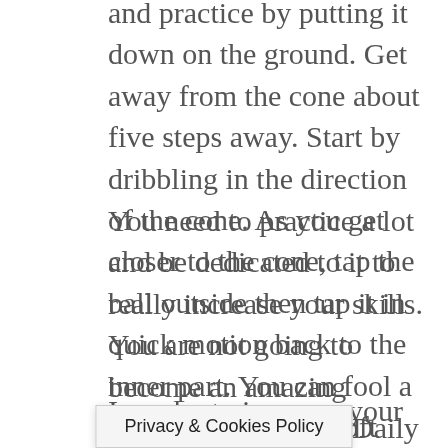and practice by putting it down on the ground. Get away from the cone about five steps away. Start by dribbling in the direction of the cone. As you get closer to the cone, tap the ball outside then tap it in quick motion back to the inner part. You can fool a defender with this soft outside touch. The second touch should be bigger than the first one.
You need to practice a lot and be dedicated to it to really increase your skills. You are not going to become an amazing player in an instant. Daily practice is essential to becoming great. Practice all your soccer skills, regardless of how difficult they are. Don't stop practicing the things you're good at because you need to maintain and improve those skills too.
In order to increase your odds of scoring by a penalty kick, you should practice it immediately after your regular practice sessi nto the
Privacy & Cookies Policy